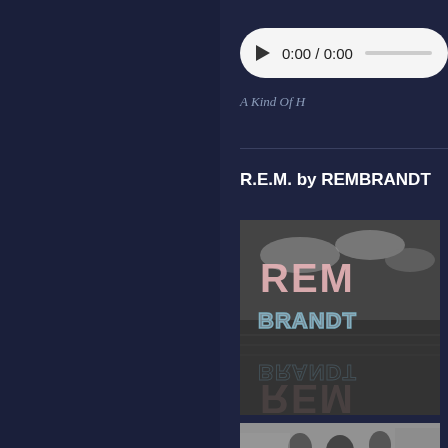[Figure (screenshot): Audio player UI with play button showing 0:00 / 0:00 and a progress bar on a light gray pill-shaped background]
A Kind Of H
R.E.M. by REMBRANDT
[Figure (photo): Black and white landscape photo with large REM BRANDT text overlay in pink/blue letters, reflected in water below]
REM som mak like Zep R.E. Fre ridi or ' The ban
[Figure (photo): Black and white photo of band members]
RE 85